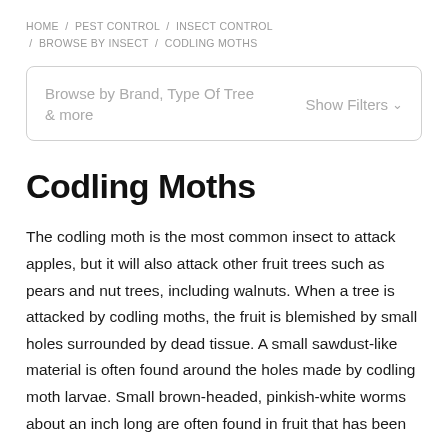HOME / PEST CONTROL / INSECT CONTROL / BROWSE BY INSECT / CODLING MOTHS
Codling Moths
The codling moth is the most common insect to attack apples, but it will also attack other fruit trees such as pears and nut trees, including walnuts. When a tree is attacked by codling moths, the fruit is blemished by small holes surrounded by dead tissue. A small sawdust-like material is often found around the holes made by codling moth larvae. Small brown-headed, pinkish-white worms about an inch long are often found in fruit that has been